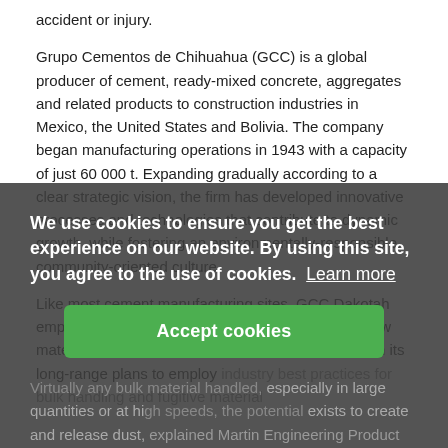accident or injury.
Grupo Cementos de Chihuahua (GCC) is a global producer of cement, ready-mixed concrete, aggregates and related products to construction industries in Mexico, the United States and Bolivia. The company began manufacturing operations in 1943 with a capacity of just 60 000 t. Expanding gradually according to a clear strategic vision, the firm has developed innovative processes and technologies that contribute to dynamic growth, while fostering an environmentally-responsible, community-oriented culture.
Like most cement manufacturing sites, GCC Dakotah employs an extensive conveyor system to handle raw materials and move finished product. In keeping with its long-range plans to employ industry best practices for bulk handling and fugitive material...
Cookie banner overlay: We use cookies to ensure you get the best experience on our website. By using this site, you agree to the use of cookies. Learn more
Virtually any bulk material handled, especially in large quantities or at high speeds, the potential exists to create and release dust, explained Martin Engineering Product Engineer Dan